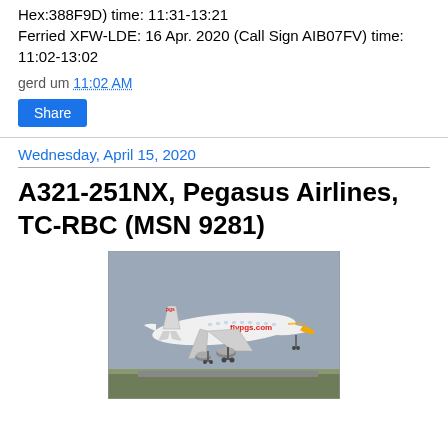Hex:388F9D) time: 11:31-13:21
Ferried XFW-LDE: 16 Apr. 2020 (Call Sign AIB07FV) time: 11:02-13:02
gerd um 11:02 AM
Share
Wednesday, April 15, 2020
A321-251NX, Pegasus Airlines, TC-RBC (MSN 9281)
[Figure (photo): Pegasus Airlines A321-251NX aircraft (TC-RBC) in flight, showing white fuselage with flypgs.com livery and yellow/orange nose markings, landing gear down, against a grey sky with runway/landscape below.]